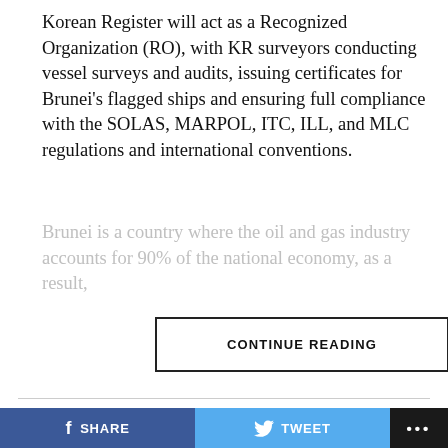Korean Register will act as a Recognized Organization (RO), with KR surveyors conducting vessel surveys and audits, issuing certificates for Brunei's flagged ships and ensuring full compliance with the SOLAS, MARPOL, ITC, ILL, and MLC regulations and international conventions.
Brunei is a country where the oil and gas industry accounts for 90% of the national economy, as a result...
CONTINUE READING
ENVIRONMENT
Damen Shipyards Group completes rebuild of 'OceanXplorer'
f SHARE   TWEET   ...